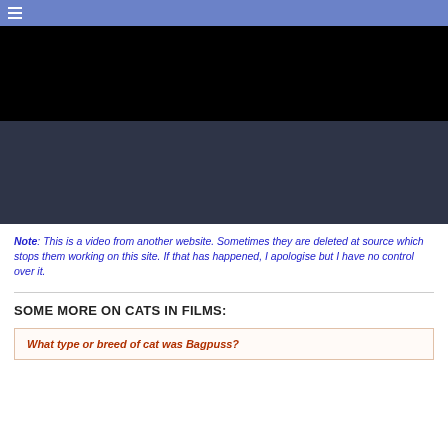≡
[Figure (screenshot): Embedded video player with black top portion and dark slate-blue bottom portion, representing a video embedded from another website.]
Note: This is a video from another website. Sometimes they are deleted at source which stops them working on this site. If that has happened, I apologise but I have no control over it.
SOME MORE ON CATS IN FILMS:
What type or breed of cat was Bagpuss?